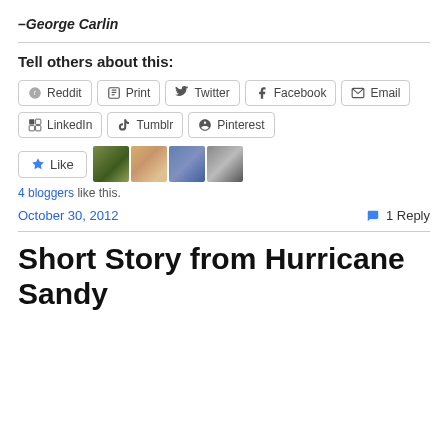–George Carlin
Tell others about this:
Reddit  Print  Twitter  Facebook  Email
LinkedIn  Tumblr  Pinterest
[Figure (other): Like button and 4 blogger avatar thumbnails]
4 bloggers like this.
October 30, 2012
1 Reply
Short Story from Hurricane Sandy